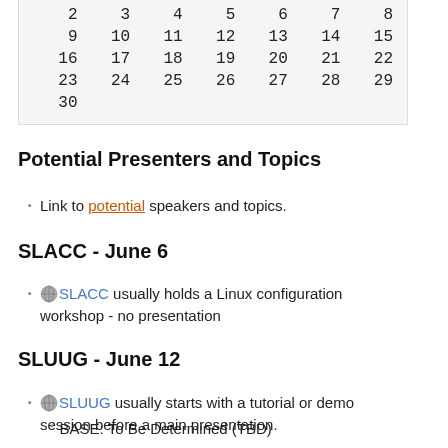| 2 | 3 | 4 | 5 | 6 | 7 | 8 |
| 9 | 10 | 11 | 12 | 13 | 14 | 15 |
| 16 | 17 | 18 | 19 | 20 | 21 | 22 |
| 23 | 24 | 25 | 26 | 27 | 28 | 29 |
| 30 |  |  |  |  |  |  |
Potential Presenters and Topics
Link to potential speakers and topics.
SLACC - June 6
SLACC usually holds a Linux configuration workshop - no presentation
SLUUG - June 12
SLUUG usually starts with a tutorial or demo session before a main presentation.
BASE: To Be Determined (TBD)
MAIN: To Be Determined (TBD)